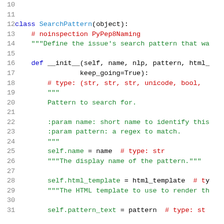[Figure (screenshot): Python source code viewer showing lines 10-31 of a file defining a SearchPattern class, with syntax highlighting: blue for keywords, green for strings/docstrings, red for comments, black for identifiers.]